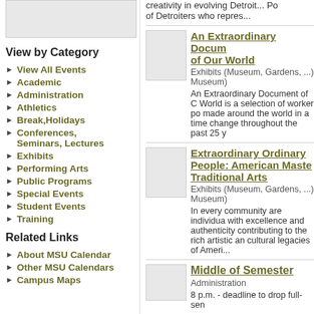[Figure (other): Gray placeholder image box in top left]
View by Category
View All Events
Academic
Administration
Athletics
Break,Holidays
Conferences, Seminars, Lectures
Exhibits
Performing Arts
Public Programs
Special Events
Student Events
Training
Related Links
About MSU Calendar
Other MSU Calendars
Campus Maps
creativity in evolving Detroit... Po of Detroiters who repres...
An Extraordinary Docum of Our World
Exhibits (Museum, Gardens, ...) Museum)
An Extraordinary Document of C World is a selection of worker po made around the world in a time change throughout the past 25 y
[Figure (other): Gray thumbnail image placeholder for second event]
Extraordinary Ordinary People: American Maste Traditional Arts
Exhibits (Museum, Gardens, ...) Museum)
In every community are individua with excellence and authenticity contributing to the rich artistic an cultural legacies of Ameri...
[Figure (other): Gray thumbnail image placeholder for third event]
Middle of Semester
Administration
8 p.m. - deadline to drop full-sen